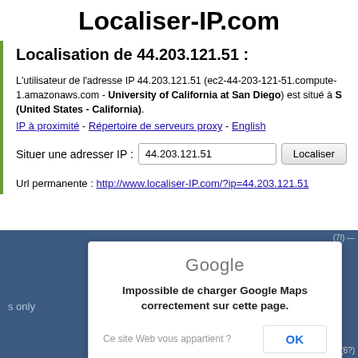Localiser-IP.com
Localisation de 44.203.121.51 :
L'utilisateur de l'adresse IP 44.203.121.51 (ec2-44-203-121-51.compute-1.amazonaws.com - University of California at San Diego) est situé à S (United States - California).
IP à proximité - Répertoire de serveurs proxy - English
Situer une adresser IP : 44.203.121.51  [Localiser]
Url permanente : http://www.localiser-IP.com/?ip=44.203.121.51
[Figure (screenshot): Google Maps error dialog over a blue map background. Dialog shows Google logo, message 'Impossible de charger Google Maps correctement sur cette page.' with a link 'Ce site Web vous appartient ?' and an OK button. Left side shows partial map text 's only'.]